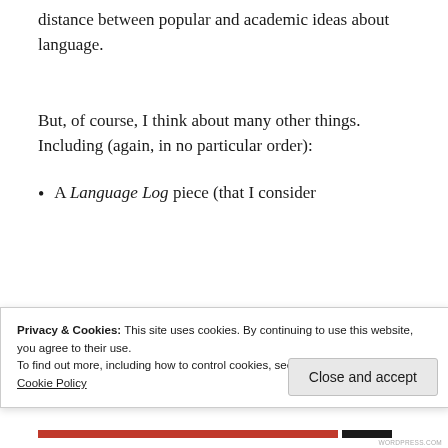distance between popular and academic ideas about language.
But, of course, I think about many other things. Including (again, in no particular order):
A Language Log piece (that I consider
Privacy & Cookies: This site uses cookies. By continuing to use this website, you agree to their use.
To find out more, including how to control cookies, see here:
Cookie Policy